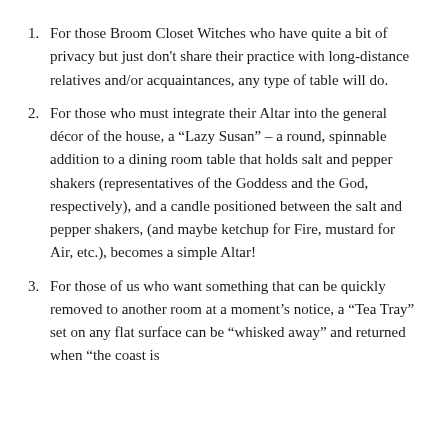For those Broom Closet Witches who have quite a bit of privacy but just don't share their practice with long-distance relatives and/or acquaintances, any type of table will do.
For those who must integrate their Altar into the general décor of the house, a “Lazy Susan” – a round, spinnable addition to a dining room table that holds salt and pepper shakers (representatives of the Goddess and the God, respectively), and a candle positioned between the salt and pepper shakers, (and maybe ketchup for Fire, mustard for Air, etc.), becomes a simple Altar!
For those of us who want something that can be quickly removed to another room at a moment's notice, a “Tea Tray” set on any flat surface can be “whisked away” and returned when “the coast is clear.”